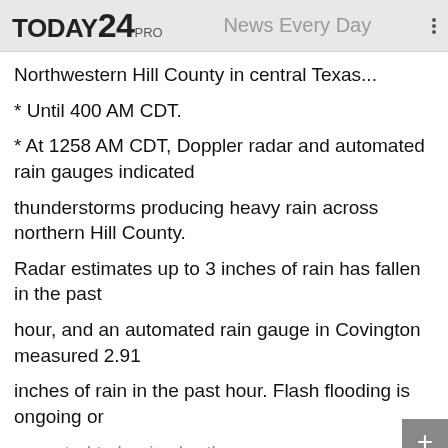TODAY24 PRO   News Every Day
Northwestern Hill County in central Texas...
* Until 400 AM CDT.
* At 1258 AM CDT, Doppler radar and automated rain gauges indicated
thunderstorms producing heavy rain across northern Hill County.
Radar estimates up to 3 inches of rain has fallen in the past
hour, and an automated rain gauge in Covington measured 2.91
inches of rain in the past hour. Flash flooding is ongoing or
expected to begin shortly